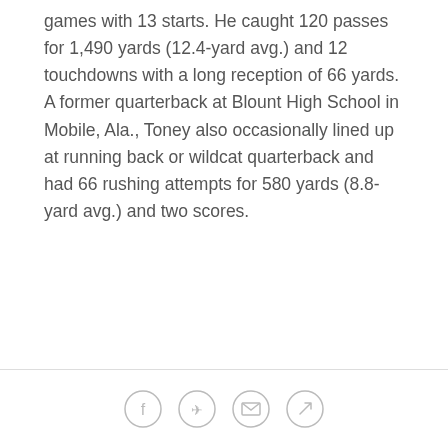games with 13 starts. He caught 120 passes for 1,490 yards (12.4-yard avg.) and 12 touchdowns with a long reception of 66 yards. A former quarterback at Blount High School in Mobile, Ala., Toney also occasionally lined up at running back or wildcat quarterback and had 66 rushing attempts for 580 yards (8.8-yard avg.) and two scores.
[Figure (illustration): Section divider with two horizontal lines and a football icon in the center]
WR Kadarius Toney's first 24 hours
View photos of Giants first-round pick Kadarius Toney touring the Quest Diagnostics Training Center.
Social share icons: Facebook, Twitter, Email, Link